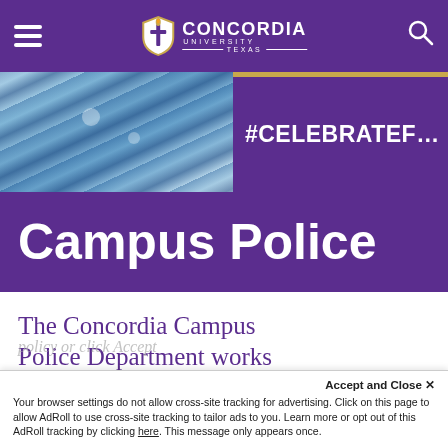Concordia University Texas
[Figure (screenshot): Hero banner image showing graduation gowns on the left and a purple #CELEBRATEF banner on the right]
Campus Police
The Concordia Campus Police Department works
Accept and Close ×
Your browser settings do not allow cross-site tracking for advertising. Click on this page to allow AdRoll to use cross-site tracking to tailor ads to you. Learn more or opt out of this AdRoll tracking by clicking here. This message only appears once.